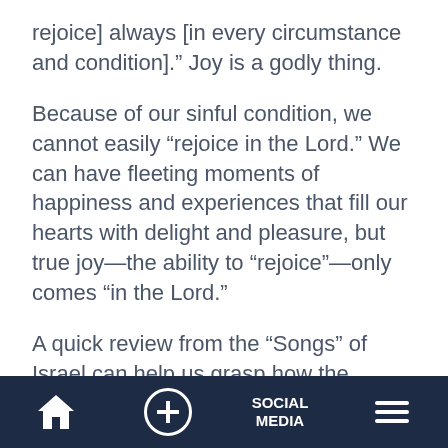rejoice] always [in every circumstance and condition].” Joy is a godly thing.
Because of our sinful condition, we cannot easily “rejoice in the Lord.” We can have fleeting moments of happiness and experiences that fill our hearts with delight and pleasure, but true joy—the ability to “rejoice”—only comes “in the Lord.”
A quick review from the “Songs” of Israel can help us grasp how the righteous rejoice.
Home | Add | Social Media | Menu